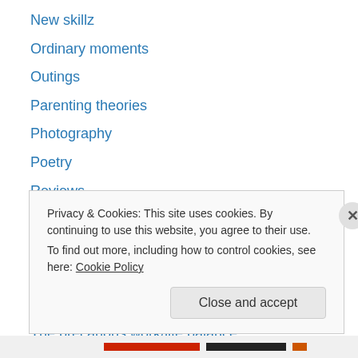New skillz
Ordinary moments
Outings
Parenting theories
Photography
Poetry
Reviews
Seasonal stuff
Siblings
Silent Sunday
Special occasions
The precarious work/life balance
Thoughts on life in general
Privacy & Cookies: This site uses cookies. By continuing to use this website, you agree to their use. To find out more, including how to control cookies, see here: Cookie Policy
Close and accept